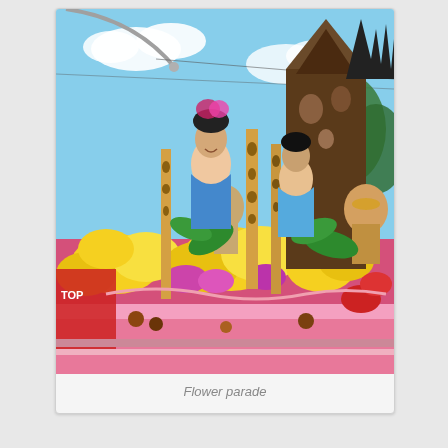[Figure (photo): A colorful flower parade float decorated with bright yellow and purple flowers, Thai ornamental figures, giraffe-patterned poles, and tropical foliage. Two women in traditional Thai festival attire with elaborate hair decorations stand on the float. The background shows a blue sky with clouds and string lights overhead.]
Flower parade